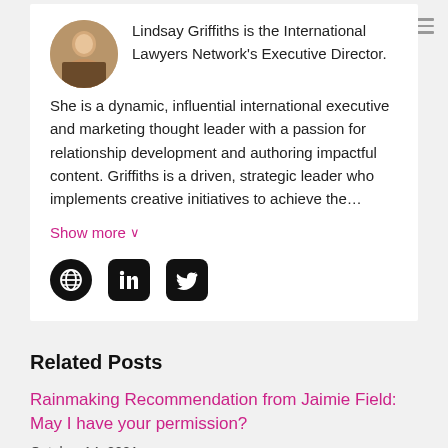Lindsay Griffiths is the International Lawyers Network's Executive Director. She is a dynamic, influential international executive and marketing thought leader with a passion for relationship development and authoring impactful content. Griffiths is a driven, strategic leader who implements creative initiatives to achieve the...
Show more ∨
[Figure (illustration): Three social media icon buttons: globe/website, LinkedIn, Twitter]
Related Posts
Rainmaking Recommendation from Jaimie Field: May I have your permission?
October 14, 2021